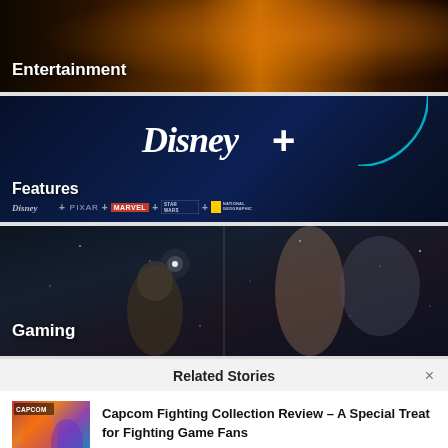[Figure (photo): Entertainment category banner with dark warm background showing movie/TV imagery]
Entertainment
[Figure (photo): Disney+ streaming service banner on dark blue background with Disney+ logo and brand logos: Disney, Pixar, Marvel, Star Wars, National Geographic]
Features
[Figure (photo): Gaming category banner with dark sci-fi characters on dark space background]
Gaming
Related Stories
[Figure (photo): Capcom Fighting Collection game thumbnail with colorful fighting game artwork]
Capcom Fighting Collection Review – A Special Treat for Fighting Game Fans